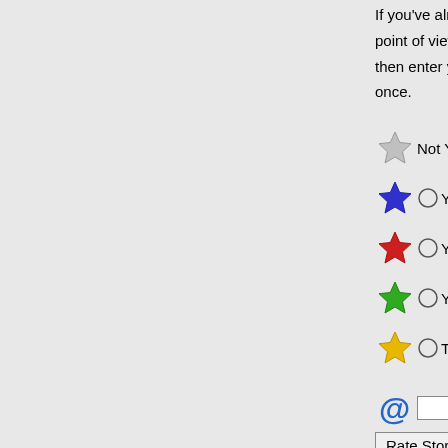If you've already point of view. Cli then enter your n once.
Not Yet R
You cons
You thin
You wou
The stor
Email eg: na
Rate Story  cli
Story star ratings scores to date, th and local cache s